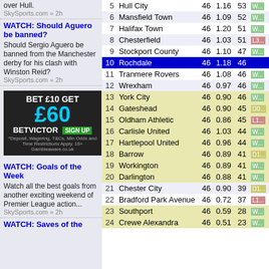over Hull.
SkySports.com » 2h
WATCH: Should Aguero be banned? Should Sergio Aguero be banned from the Manchester derby for his clash with Winston Reid?
SkySports.com » 2h
[Figure (photo): BET VICTOR advertisement: BET £10 GET £60]
WATCH: Goals of the Week Watch all the best goals from another exciting weekend of Premier League action...
SkySports.com » 2h
WATCH: Saves of the
| # | Team | P | GR | Pts | Form |
| --- | --- | --- | --- | --- | --- |
| 5 | Hull City | 46 | 1.16 | 53 | W... |
| 6 | Mansfield Town | 46 | 1.09 | 52 | W... |
| 7 | Halifax Town | 46 | 1.20 | 51 | W... |
| 8 | Chesterfield | 46 | 1.03 | 51 | L3... |
| 9 | Stockport County | 46 | 1.10 | 47 | W... |
| 10 | Rochdale | 46 | 1.18 | 46 |  |
| 11 | Tranmere Rovers | 46 | 1.08 | 46 | W... |
| 12 | Wrexham | 46 | 0.97 | 46 | W... |
| 13 | York City | 46 | 0.90 | 46 | W... |
| 14 | Gateshead | 46 | 0.90 | 45 | D0... |
| 15 | Oldham Athletic | 46 | 0.86 | 45 | L1... |
| 16 | Carlisle United | 46 | 1.03 | 44 | W... |
| 17 | Hartlepool United | 46 | 0.96 | 44 | W... |
| 18 | Barrow | 46 | 0.89 | 41 | D1... |
| 19 | Workington | 46 | 0.89 | 41 | W... |
| 20 | Darlington | 46 | 0.88 | 41 | W... |
| 21 | Chester City | 46 | 0.90 | 39 | D1... |
| 22 | Bradford Park Avenue | 46 | 0.72 | 37 | L1... |
| 23 | Southport | 46 | 0.59 | 28 | W... |
| 24 | Crewe Alexandra | 46 | 0.51 | 23 | W... |